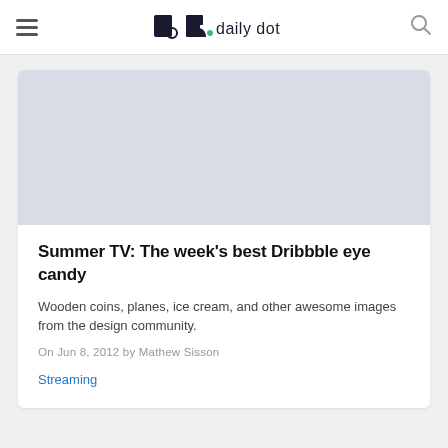daily dot
[Figure (illustration): Article card image area — blank placeholder with grey background]
Summer TV: The week's best Dribbble eye candy
Wooden coins, planes, ice cream, and other awesome images from the design community.
On Jun 8, 2012 by Mathew Sisson
Streaming